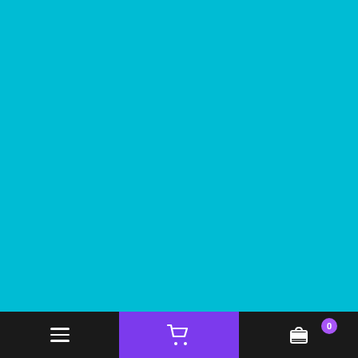E-mail address
SUBSCRIBE
Contact us
F.A.Q.
Privacy Policy
Terms of Service
Copyright © 2020, PrinterFairy. All Rights Reserved.
[Figure (logo): Shop Pay, Google Pay, and PayPal payment logos]
Postal address:
Calle Homero #2
piso 1, puerta 2
Cullera, Valencia 46408
Navigation bar with hamburger menu, cart icon, and cart count 0